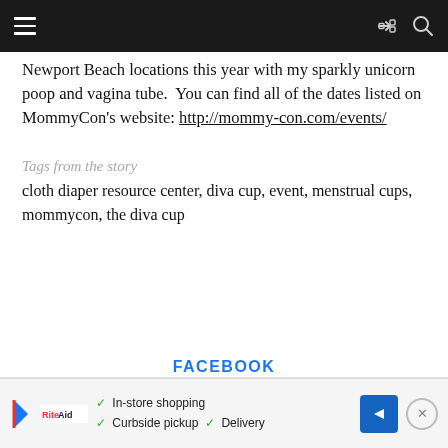[Navigation bar with hamburger menu, share icon, and search icon]
Newport Beach locations this year with my sparkly unicorn poop and vagina tube.  You can find all of the dates listed on MommyCon's website: http://mommycon.com/events/
Tags from the story
cloth diaper resource center, diva cup, event, menstrual cups, mommycon, the diva cup
FACEBOOK
[Figure (screenshot): Advertisement banner with play button, brand logo, checkmarks for In-store shopping, Curbside pickup, Delivery, navigation arrow icon, and close button]